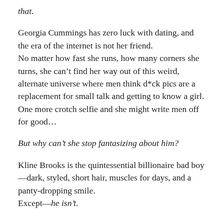that.
Georgia Cummings has zero luck with dating, and the era of the internet is not her friend.
No matter how fast she runs, how many corners she turns, she can't find her way out of this weird, alternate universe where men think d*ck pics are a replacement for small talk and getting to know a girl. One more crotch selfie and she might write men off for good…
But why can't she stop fantasizing about him?
Kline Brooks is the quintessential billionaire bad boy—dark, styled, short hair, muscles for days, and a panty-dropping smile.
Except—he isn't.